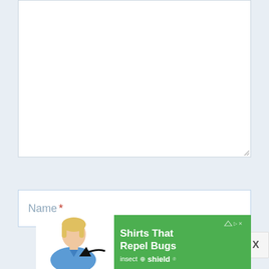[Figure (screenshot): Empty white text area input box with resize handle at bottom-right corner]
[Figure (screenshot): White text input field with placeholder label 'Name *' where asterisk is in red]
[Figure (screenshot): Close button 'X' on light gray background]
[Figure (screenshot): Advertisement banner for Insect Shield 'Shirts That Repel Bugs' featuring a woman in a blue shirt with an arrow pointing at her shirt, green background on right side]